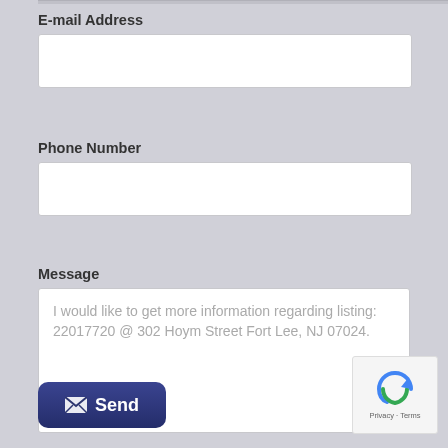E-mail Address
Phone Number
Message
I would like to get more information regarding listing: 22017720 @ 302 Hoym Street Fort Lee, NJ 07024.
Send
Privacy · Terms